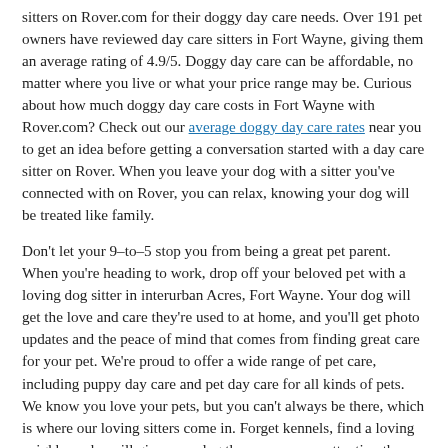sitters on Rover.com for their doggy day care needs. Over 191 pet owners have reviewed day care sitters in Fort Wayne, giving them an average rating of 4.9/5. Doggy day care can be affordable, no matter where you live or what your price range may be. Curious about how much doggy day care costs in Fort Wayne with Rover.com? Check out our average doggy day care rates near you to get an idea before getting a conversation started with a day care sitter on Rover. When you leave your dog with a sitter you've connected with on Rover, you can relax, knowing your dog will be treated like family.
Don't let your 9–to–5 stop you from being a great pet parent. When you're heading to work, drop off your beloved pet with a loving dog sitter in interurban Acres, Fort Wayne. Your dog will get the love and care they're used to at home, and you'll get photo updates and the peace of mind that comes from finding great care for your pet. We're proud to offer a wide range of pet care, including puppy day care and pet day care for all kinds of pets. We know you love your pets, but you can't always be there, which is where our loving sitters come in. Forget kennels, find a loving neighbor who will give your dog the one–on–one attention they deserve. That way, when you head to work, you know your dog's in good hands.
A Daily Treat: A Blog by Rover